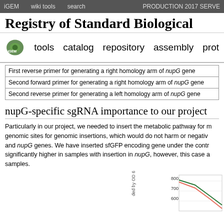iGEM   wiki tools   search   PRODUCTION 2017 SERVER
Registry of Standard Biological
tools   catalog   repository   assembly   prot
| First reverse primer for generating a right homology arm of nupG gene |
| Second forward primer for generating a right homology arm of nupG gene |
| Second reverse primer for generating a left homology arm of nupG gene |
nupG-specific sgRNA importance to our project
Particularly in our project, we needed to insert the metabolic pathway for m genomic sites for genomic insertions, which would do not harm or negativ and nupG genes. We have inserted sfGFP encoding gene under the contr significantly higher in samples with insertion in nupG, however, this case a samples.
[Figure (line-chart): Partial line chart showing curves labeled with OD 600 on y-axis (range ~600-800), with green and red/pink lines visible at bottom right of page]